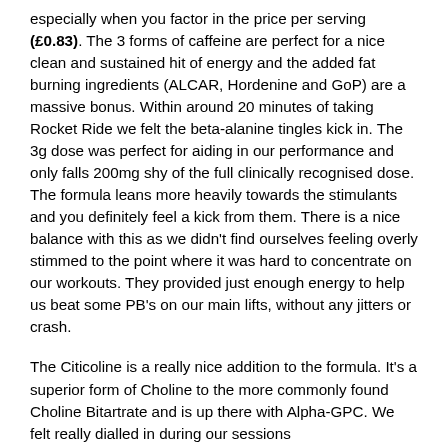especially when you factor in the price per serving (£0.83). The 3 forms of caffeine are perfect for a nice clean and sustained hit of energy and the added fat burning ingredients (ALCAR, Hordenine and GoP) are a massive bonus. Within around 20 minutes of taking Rocket Ride we felt the beta-alanine tingles kick in. The 3g dose was perfect for aiding in our performance and only falls 200mg shy of the full clinically recognised dose. The formula leans more heavily towards the stimulants and you definitely feel a kick from them. There is a nice balance with this as we didn't find ourselves feeling overly stimmed to the point where it was hard to concentrate on our workouts. They provided just enough energy to help us beat some PB's on our main lifts, without any jitters or crash.
The Citicoline is a really nice addition to the formula. It's a superior form of Choline to the more commonly found Choline Bitartrate and is up there with Alpha-GPC. We felt really dialled in during our sessions